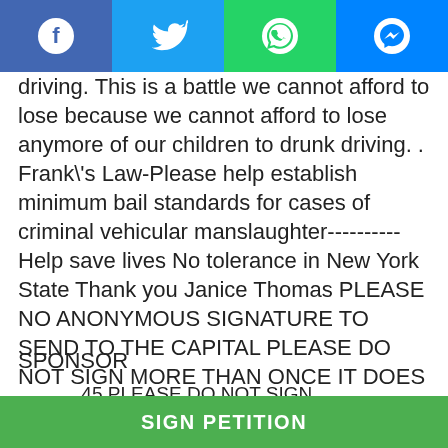[Figure (screenshot): Social media share bar with Facebook, Twitter, WhatsApp, and Messenger icons on a blue/green bar at the top]
driving. This is a battle we cannot afford to lose because we cannot afford to lose anymore of our children to drunk driving. . Frank\'s Law-Please help establish minimum bail standards for cases of criminal vehicular manslaughter----------Help save lives No tolerance in New York State Thank you Janice Thomas PLEASE NO ANONYMOUS SIGNATURE TO SEND TO THE CAPITAL PLEASE DO NOT SIGN MORE THAN ONCE IT DOES NOT CHANGE THE NUMBERS BECAUSE IT DOES NOT COUNT ONE NAME PER PERSON ------------------------------------------------------------------ Thank you Franks mom
SPONSOR
...45 PLEASE DO NOT SIGN
SIGN PETITION